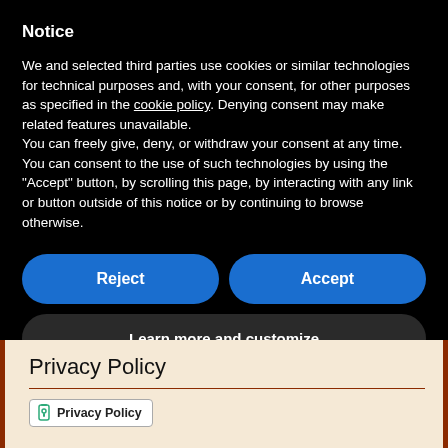Notice
We and selected third parties use cookies or similar technologies for technical purposes and, with your consent, for other purposes as specified in the cookie policy. Denying consent may make related features unavailable.
You can freely give, deny, or withdraw your consent at any time.
You can consent to the use of such technologies by using the "Accept" button, by scrolling this page, by interacting with any link or button outside of this notice or by continuing to browse otherwise.
Reject
Accept
Learn more and customize
Privacy Policy
Privacy Policy